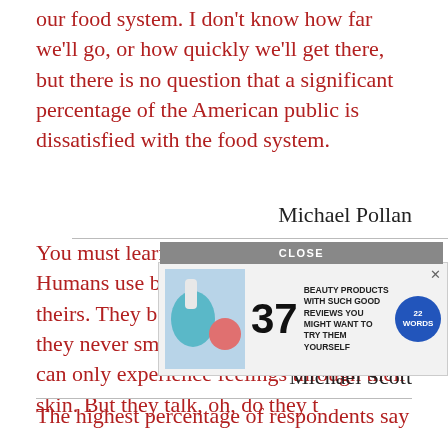I'm very hopeful that we'll see some change in our food system. I don't know how far we'll go, or how quickly we'll get there, but there is no question that a significant percentage of the American public is dissatisfied with the food system.
Michael Pollan
You must learn to heed your senses. Humans use but a tiny percentage of theirs. They barely look, they rarely listen, they never smell, and they think that they can only experience feelings through their skin. But they talk, oh, do they t...
Michael Scott
[Figure (screenshot): Advertisement banner showing images of beauty products, the number 37, text reading 'BEAUTY PRODUCTS WITH SUCH GOOD REVIEWS YOU MIGHT WANT TO TRY THEM YOURSELF', a blue circle with '22 WORDS', and a CLOSE button]
The highest percentage of respondents say